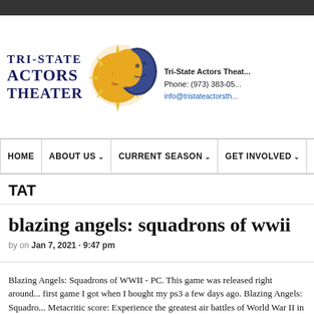[Figure (logo): Tri-State Actors Theater logo with sun and moon illustration and text 'TRI-STATE ACTORS THEATER']
Tri-State Actors Theater
Phone: (973) 383-05...
info@tristateactorsth...
HOME | ABOUT US | CURRENT SEASON | GET INVOLVED | TI
TAT
blazing angels: squadrons of wwii
by on Jan 7, 2021 · 9:47 pm
Blazing Angels: Squadrons of WWII - PC. This game was released right around... first game I got when I bought my ps3 a few days ago. Blazing Angels: Squadro... Metacritic score: Experience the greatest air battles of World War II in famou...